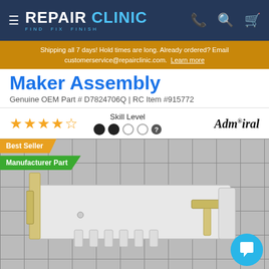RepairClinic - FIND FIX FINISH
Shipping all 7 days! Hold times are long. Already ordered? Email customerservice@repairclinic.com.  Learn more
Maker Assembly
Genuine OEM Part # D7824706Q | RC Item #915772
[Figure (other): Four and a half gold star rating, Skill Level indicator with 2 filled dots and 2 empty dots plus help icon, Admiral brand logo]
[Figure (photo): Ice maker assembly part (white plastic, with metal brackets and ejector fingers) photographed against a dark grid tile background. Best Seller and Manufacturer Part badges overlaid at top-left. Chat bubble button at bottom-right.]